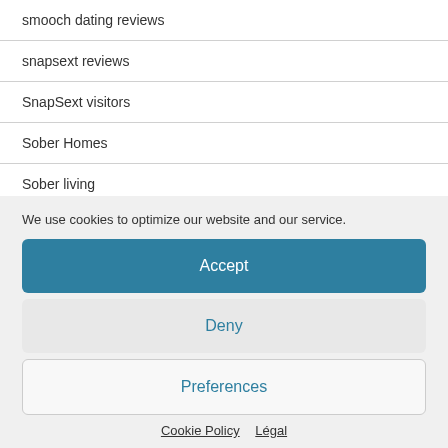smooch dating reviews
snapsext reviews
SnapSext visitors
Sober Homes
Sober living
We use cookies to optimize our website and our service.
Accept
Deny
Preferences
Cookie Policy   Légal